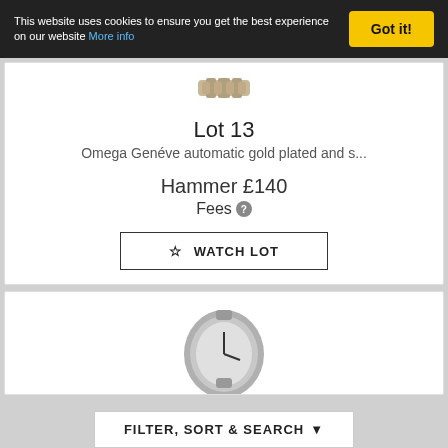This website uses cookies to ensure you get the best experience on our website More info
Got it!
[Figure (photo): Partial image of a watch at top of lot card]
Lot 13
Omega Genéve automatic gold plated and s...
Hammer £140
Fees
☆ Watch Lot
[Figure (photo): Partial image of another watch in the second lot card]
Filter, Sort & Search